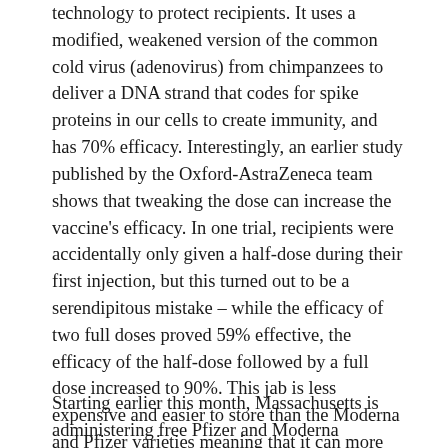technology to protect recipients. It uses a modified, weakened version of the common cold virus (adenovirus) from chimpanzees to deliver a DNA strand that codes for spike proteins in our cells to create immunity, and has 70% efficacy. Interestingly, an earlier study published by the Oxford-AstraZeneca team shows that tweaking the dose can increase the vaccine's efficacy. In one trial, recipients were accidentally only given a half-dose during their first injection, but this turned out to be a serendipitous mistake – while the efficacy of two full doses proved 59% effective, the efficacy of the half-dose followed by a full dose increased to 90%. This jab is less expensive and easier to store than the Moderna and Pfizer varieties meaning that it can more easily reach every corner of the world.
Starting earlier this month, Massachusetts is administering free Pfizer and Moderna vaccines to